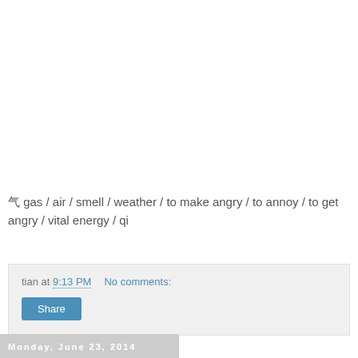气 gas / air / smell / weather / to make angry / to annoy / to get angry / vital energy / qi
tian at 9:13 PM   No comments:
Share
Monday, June 23, 2014